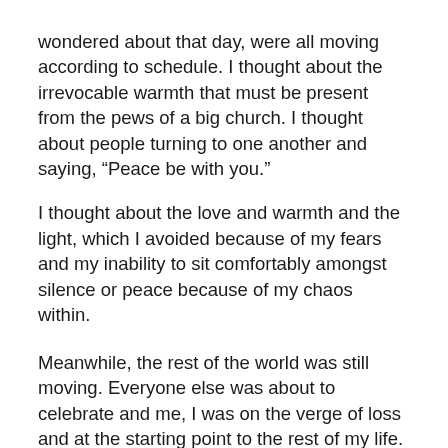wondered about that day, were all moving according to schedule. I thought about the irrevocable warmth that must be present from the pews of a big church. I thought about people turning to one another and saying, “Peace be with you.” I thought about the love and warmth and the light, which I avoided because of my fears and my inability to sit comfortably amongst silence or peace because of my chaos within.
Meanwhile, the rest of the world was still moving. Everyone else was about to celebrate and me, I was on the verge of loss and at the starting point to the rest of my life.
As I write to you, I consider this report a sign of growth. I think of the different stages of difficulty in which we are